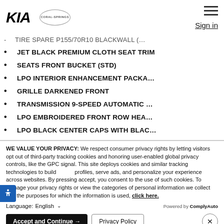[Figure (logo): KIA logo in bold italic black text]
[Figure (logo): Coral Springs dealership badge/seal]
Sign in
TIRE SPARE P155/70R10 BLACKWALL (…
JET BLACK PREMIUM CLOTH SEAT TRIM
SEATS FRONT BUCKET (STD)
LPO INTERIOR ENHANCEMENT PACKA…
GRILLE DARKENED FRONT
TRANSMISSION 9-SPEED AUTOMATIC …
LPO EMBROIDERED FRONT ROW HEA…
LPO BLACK CENTER CAPS WITH BLAC…
WHEELS 19 X 7.5 (48.3 CM X 19.1 CM)
WE VALUE YOUR PRIVACY: We respect consumer privacy rights by letting visitors opt out of third-party tracking cookies and honoring user-enabled global privacy controls, like the GPC signal. This site deploys cookies and similar tracking technologies to build profiles, serve ads, and personalize your experience across websites. By pressing accept, you consent to the use of such cookies. To manage your privacy rights or view the categories of personal information we collect and the purposes for which the information is used, click here.
Language: English
Powered by ComplyAuto
Accept and Continue →
Privacy Policy